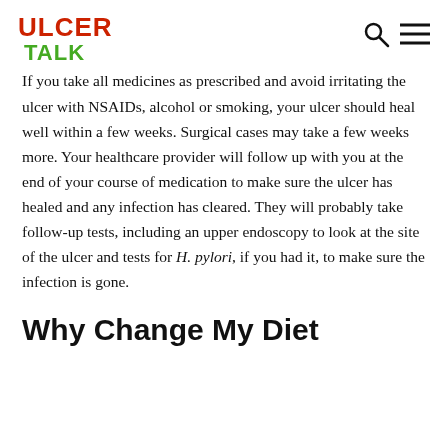ULCER TALK
If you take all medicines as prescribed and avoid irritating the ulcer with NSAIDs, alcohol or smoking, your ulcer should heal well within a few weeks. Surgical cases may take a few weeks more. Your healthcare provider will follow up with you at the end of your course of medication to make sure the ulcer has healed and any infection has cleared. They will probably take follow-up tests, including an upper endoscopy to look at the site of the ulcer and tests for H. pylori, if you had it, to make sure the infection is gone.
Why Change My Diet